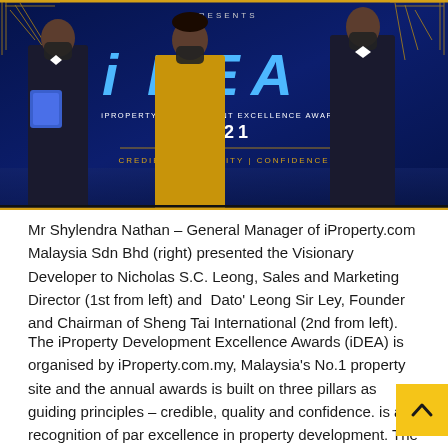[Figure (photo): Award ceremony photo showing three people on stage at the iProperty Development Excellence Awards (iDEA) 2021. The backdrop shows the iDEA logo in large blue 3D letters and text: 'PRESENTS', 'iPROPERTY DEVELOPMENT EXCELLENCE AWARDS', '2021', 'CREDIBLE | QUALITY | CONFIDENCE'. One person on the left holds an award plaque, one person in the center wears a golden outfit, and one person on the right wears a suit with bow tie. All wear face masks.]
Mr Shylendra Nathan – General Manager of iProperty.com Malaysia Sdn Bhd (right) presented the Visionary Developer to Nicholas S.C. Leong, Sales and Marketing Director (1st from left) and  Dato' Leong Sir Ley, Founder and Chairman of Sheng Tai International (2nd from left).
The iProperty Development Excellence Awards (iDEA) is organised by iProperty.com.my, Malaysia's No.1 property site and the annual awards is built on three pillars as guiding principles – credible, quality and confidence. is a recognition of par excellence in property development. The awards raises the spotlight on the